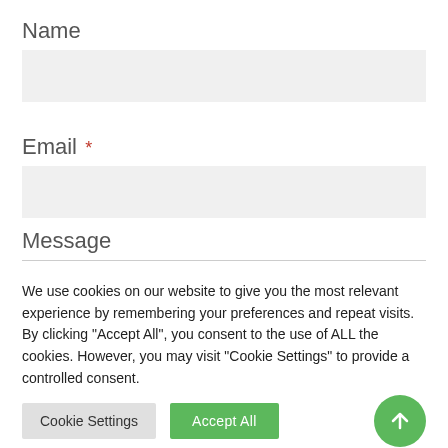Name
[Figure (other): Empty text input field for Name]
Email *
[Figure (other): Empty text input field for Email]
Message
We use cookies on our website to give you the most relevant experience by remembering your preferences and repeat visits. By clicking "Accept All", you consent to the use of ALL the cookies. However, you may visit "Cookie Settings" to provide a controlled consent.
[Figure (other): Cookie Settings button (grey), Accept All button (green), and scroll-to-top arrow button (green circle)]